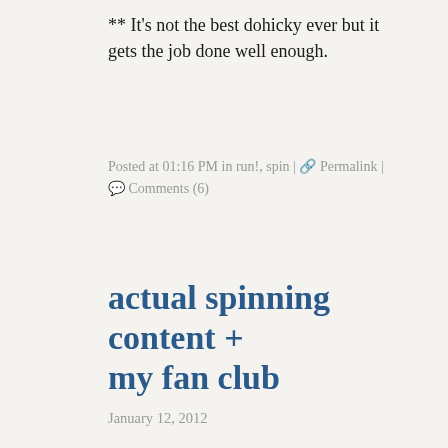** It's not the best dohicky ever but it gets the job done well enough.
Posted at 01:16 PM in run!, spin | 🔗 Permalink | 💬 Comments (6)
actual spinning content + my fan club
January 12, 2012
I might have made some yarn.
[Figure (photo): Blurred close-up photograph of yarn or fiber in soft blue-green and white tones]